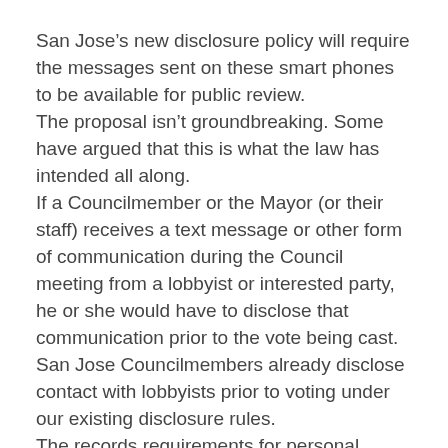San Jose’s new disclosure policy will require the messages sent on these smart phones to be available for public review.
The proposal isn’t groundbreaking. Some have argued that this is what the law has intended all along.
If a Councilmember or the Mayor (or their staff) receives a text message or other form of communication during the Council meeting from a lobbyist or interested party, he or she would have to disclose that communication prior to the vote being cast. San Jose Councilmembers already disclose contact with lobbyists prior to voting under our existing disclosure rules.
The records requirements for personal devices, emails and texts apply to messages sent or